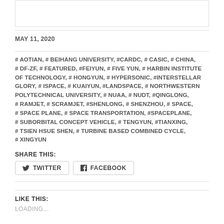MAY 11, 2020
# AOTIAN, # BEIHANG UNIVERSITY, #CARDC, # CASIC, # CHINA, # DF-ZF, # FEATURED, #FEIYUN, # FIVE YUN, # HARBIN INSTITUTE OF TECHNOLOGY, # HONGYUN, # HYPERSONIC, #INTERSTELLAR GLORY, # ISPACE, # KUAIYUN, #LANDSPACE, # NORTHWESTERN POLYTECHNICAL UNIVERSITY, # NUAA, # NUDT, #QINGLONG, # RAMJET, # SCRAMJET, #SHENLONG, # SHENZHOU, # SPACE, # SPACE PLANE, # SPACE TRANSPORTATION, #SPACEPLANE, # SUBORBITAL CONCEPT VEHICLE, # TENGYUN, #TIANXING, # TSIEN HSUE SHEN, # TURBINE BASED COMBINED CYCLE, # XINGYUN
SHARE THIS:
TWITTER
FACEBOOK
LIKE THIS:
LOADING...